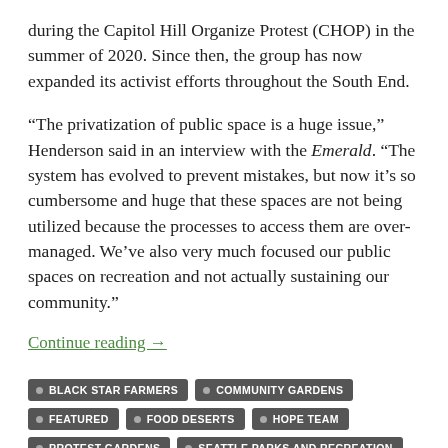during the Capitol Hill Organize Protest (CHOP) in the summer of 2020. Since then, the group has now expanded its activist efforts throughout the South End.
“The privatization of public space is a huge issue,” Henderson said in an interview with the Emerald. “The system has evolved to prevent mistakes, but now it’s so cumbersome and huge that these spaces are not being utilized because the processes to access them are over-managed. We’ve also very much focused our public spaces on recreation and not actually sustaining our community.”
Continue reading →
BLACK STAR FARMERS
COMMUNITY GARDENS
FEATURED
FOOD DESERTS
HOPE TEAM
PROTEST GARDENS
SEATTLE PARKS AND RECREATION